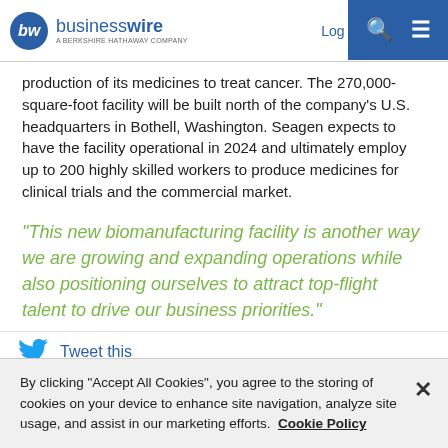businesswire — A BERKSHIRE HATHAWAY COMPANY | Log In | Sign Up
production of its medicines to treat cancer. The 270,000-square-foot facility will be built north of the company's U.S. headquarters in Bothell, Washington. Seagen expects to have the facility operational in 2024 and ultimately employ up to 200 highly skilled workers to produce medicines for clinical trials and the commercial market.
“This new biomanufacturing facility is another way we are growing and expanding operations while also positioning ourselves to attract top-flight talent to drive our business priorities.”
Tweet this
By clicking “Accept All Cookies”, you agree to the storing of cookies on your device to enhance site navigation, analyze site usage, and assist in our marketing efforts. Cookie Policy